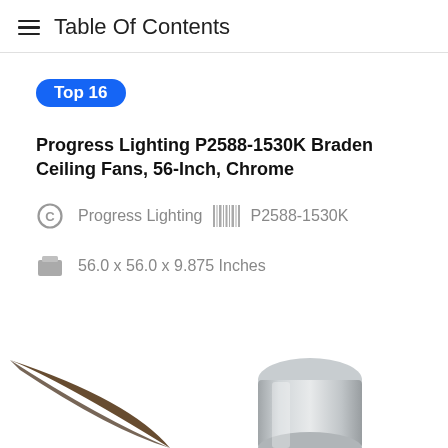Table Of Contents
Top 16
Progress Lighting P2588-1530K Braden Ceiling Fans, 56-Inch, Chrome
Progress Lighting   P2588-1530K
56.0 x 56.0 x 9.875 Inches
17.7 Pounds
[Figure (photo): Partial image of a ceiling fan (Progress Lighting P2588-1530K Braden) with dark wood blades and a chrome housing, shown from below at an angle, cropped at the bottom of the page.]